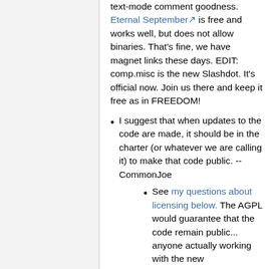text-mode comment goodness. Eternal September is free and works well, but does not allow binaries. That's fine, we have magnet links these days. EDIT: comp.misc is the new Slashdot. It's official now. Join us there and keep it free as in FREEDOM!
I suggest that when updates to the code are made, it should be in the charter (or whatever we are calling it) to make that code public. -- CommonJoe
See my questions about licensing below. The AGPL would guarantee that the code remain public... anyone actually working with the new site/codebase want to weigh in? ~ Seandiggity (talk) 07:56,